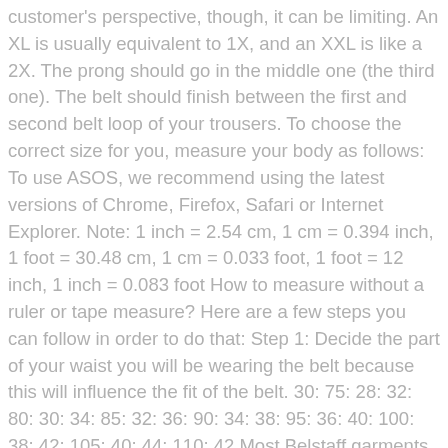customer's perspective, though, it can be limiting. An XL is usually equivalent to 1X, and an XXL is like a 2X. The prong should go in the middle one (the third one). The belt should finish between the first and second belt loop of your trousers. To choose the correct size for you, measure your body as follows: To use ASOS, we recommend using the latest versions of Chrome, Firefox, Safari or Internet Explorer. Note: 1 inch = 2.54 cm, 1 cm = 0.394 inch, 1 foot = 30.48 cm, 1 cm = 0.033 foot, 1 foot = 12 inch, 1 inch = 0.083 foot How to measure without a ruler or tape measure? Here are a few steps you can follow in order to do that: Step 1: Decide the part of your waist you will be wearing the belt because this will influence the fit of the belt. 30: 75: 28: 32: 80: 30: 34: 85: 32: 36: 90: 34: 38: 95: 36: 40: 100: 38: 42: 105: 40: 44: 110: 42 Most Belstaff garments come in Italian sizes. When working out your belt size, for men we recommend adding on two to three inches (5 to 6 cm) … While we agree with this rule to a limited extent from an aesthetic perspective, it makes plenty of sense